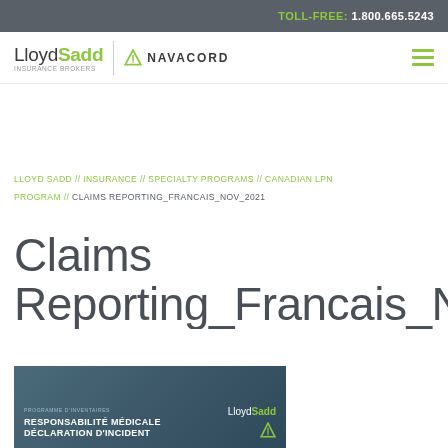TOLL-FREE: 1.800.665.5243
[Figure (logo): LloydSadd Insurance Brokers and Navacord logos with hamburger menu]
LLOYD SADD // INSURANCE // SPECIALTY PROGRAMS // CANADIAN LPN PROGRAM // CLAIMS REPORTING_FRANCAIS_NOV_2021
Claims Reporting_Francais_Nov
[Figure (photo): Thumbnail image showing a document cover: PROGRAMME D'INVENTAIRES RESPONSABILITE MEDICALE DECLARATION D'INCIDENT with LloydSadd and Navacord logos on a teal background]